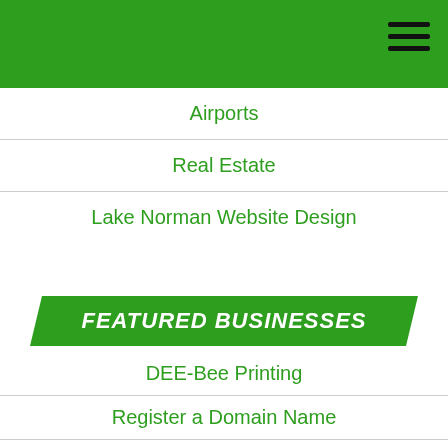Airports
Real Estate
Lake Norman Website Design
FEATURED BUSINESSES
DEE-Bee Printing
Register a Domain Name
Classic Auctions
Hosting
Website Design
Rubber Stamps